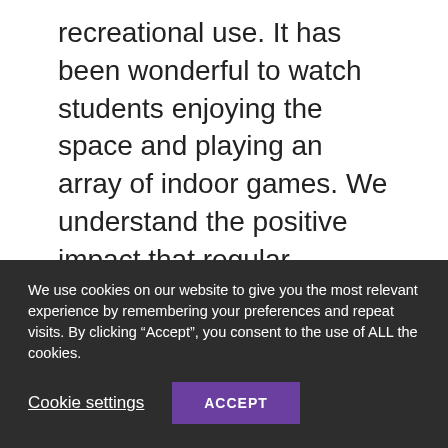recreational use. It has been wonderful to watch students enjoying the space and playing an array of indoor games. We understand the positive impact that regular exercise has on our ...
6th March 2022
[Figure (photo): Partial view of an indoor sports or recreational space with teal/green colored walls or equipment visible]
We use cookies on our website to give you the most relevant experience by remembering your preferences and repeat visits. By clicking “Accept”, you consent to the use of ALL the cookies.
Cookie settings
ACCEPT